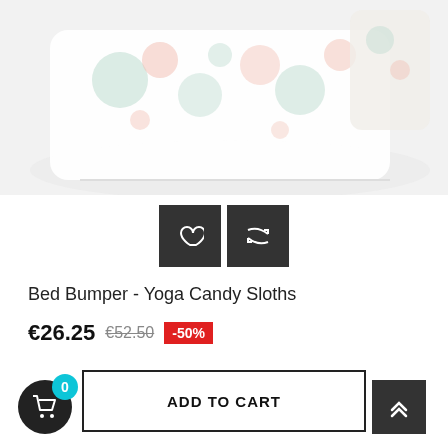[Figure (photo): Baby bed bumper with floral and sloth pattern fabric, folded, on white background]
[Figure (other): Two dark square icon buttons: heart (wishlist) and refresh/compare arrows]
Bed Bumper - Yoga Candy Sloths
€26.25 €52.50 -50%
ADD TO CART
0